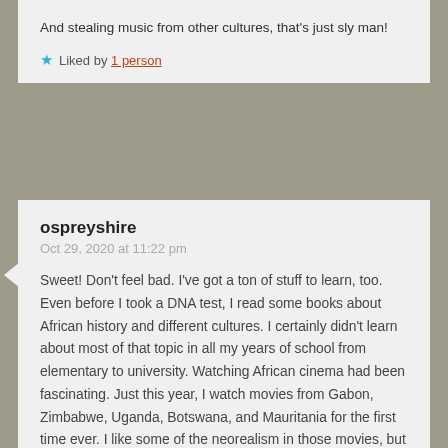And stealing music from other cultures, that's just sly man!
Liked by 1 person
ospreyshire
Oct 29, 2020 at 11:22 pm
Sweet! Don't feel bad. I've got a ton of stuff to learn, too. Even before I took a DNA test, I read some books about African history and different cultures. I certainly didn't learn about most of that topic in all my years of school from elementary to university. Watching African cinema had been fascinating. Just this year, I watch movies from Gabon, Zimbabwe, Uganda, Botswana, and Mauritania for the first time ever. I like some of the neorealism in those movies, but I've also seen some of the Nollywood (Nigeria) scene as well as some of those movies